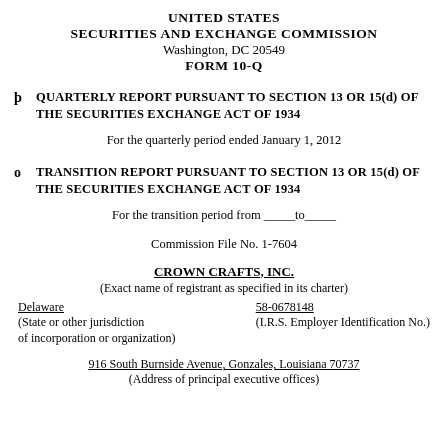UNITED STATES
SECURITIES AND EXCHANGE COMMISSION
Washington, DC 20549
FORM 10-Q
☒  QUARTERLY REPORT PURSUANT TO SECTION 13 OR 15(d) OF THE SECURITIES EXCHANGE ACT OF 1934
For the quarterly period ended January 1, 2012
○  TRANSITION REPORT PURSUANT TO SECTION 13 OR 15(d) OF THE SECURITIES EXCHANGE ACT OF 1934
For the transition period from _____to_____
Commission File No. 1-7604
CROWN CRAFTS, INC.
(Exact name of registrant as specified in its charter)
Delaware
(State or other jurisdiction of incorporation or organization)
58-0678148
(I.R.S. Employer Identification No.)
916 South Burnside Avenue, Gonzales, Louisiana 70737
(Address of principal executive offices)